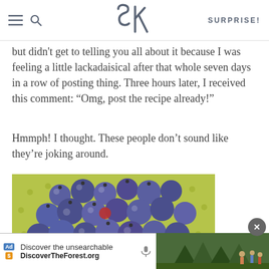SK | SURPRISE!
but didn't get to telling you all about it because I was feeling a little lackadaisical after that whole seven days in a row of posting thing. Three hours later, I received this comment: “Omg, post the recipe already!”
Hmmph! I thought. These people don’t sound like they’re joking around.
[Figure (photo): A yellow-green colander filled with fresh blueberries, viewed from above.]
Ad | Discover the unsearchable | DiscoverTheForest.org